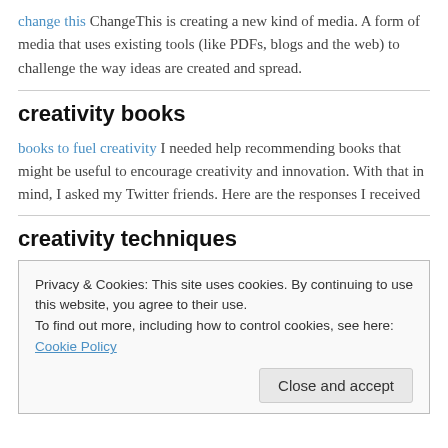change this ChangeThis is creating a new kind of media. A form of media that uses existing tools (like PDFs, blogs and the web) to challenge the way ideas are created and spread.
creativity books
books to fuel creativity I needed help recommending books that might be useful to encourage creativity and innovation. With that in mind, I asked my Twitter friends. Here are the responses I received
creativity techniques
Privacy & Cookies: This site uses cookies. By continuing to use this website, you agree to their use.
To find out more, including how to control cookies, see here: Cookie Policy
Close and accept